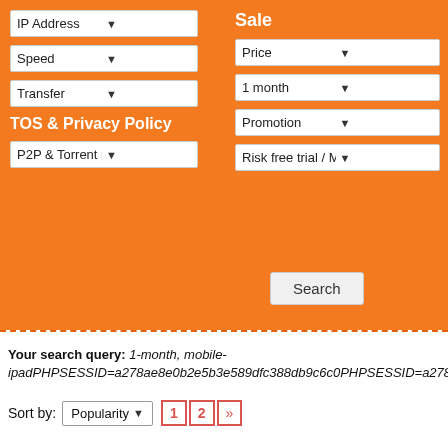[Figure (screenshot): Orange background UI filter form with dropdowns for IP Address, Speed, Transfer, TOS & Privacy Policy, P2P & Torrent restriction on the left; Sale, Price, 1 month, Promotion, Risk free trial / Moneyback guarantee on the right. A dashed separator line, then a Search button. Below the orange section: white background with search query text and sort bar with pagination.]
IP Address
Speed
Transfer
TOS & Privacy Policy
P2P & Torrent restriction
Sale
Price
1 month
Promotion
Risk free trial / Moneyback guarantee
Search
Your search query: 1-month, mobile-ipadPHPSESSID=a278ae8e0b2e5b3e589dfc388db9c6c0PHPSESSID=a278a
Sort by: Popularity
1  2  »